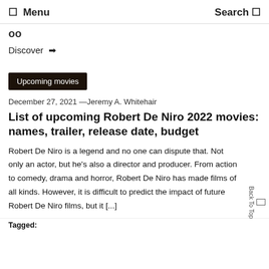☰ Menu    Search 🔍
oo
Discover  ❯
Upcoming movies
December 27, 2021 —Jeremy A. Whitehair
List of upcoming Robert De Niro 2022 movies: names, trailer, release date, budget
Robert De Niro is a legend and no one can dispute that. Not only an actor, but he's also a director and producer. From action to comedy, drama and horror, Robert De Niro has made films of all kinds. However, it is difficult to predict the impact of future Robert De Niro films, but it [...]
Tagged: